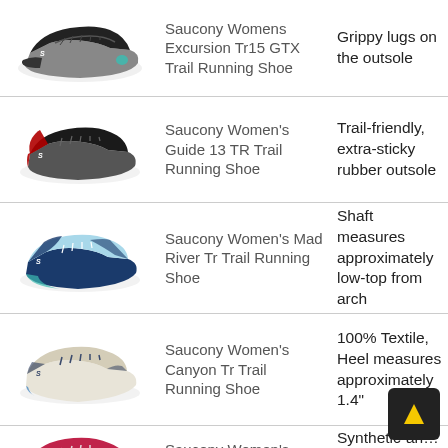| Image | Product Name | Feature |
| --- | --- | --- |
| [shoe image] | Saucony Womens Excursion Tr15 GTX Trail Running Shoe | Grippy lugs on the outsole |
| [shoe image] | Saucony Women's Guide 13 TR Trail Running Shoe | Trail-friendly, extra-sticky rubber outsole |
| [shoe image] | Saucony Women's Mad River Tr Trail Running Shoe | Shaft measures approximately low-top from arch |
| [shoe image] | Saucony Women's Canyon Tr Trail Running Shoe | 100% Textile, Heel measures approximately 1.4" |
| [shoe image] | Saucony Women's Switchback | Synthetic-and mesh, Rubber sole |